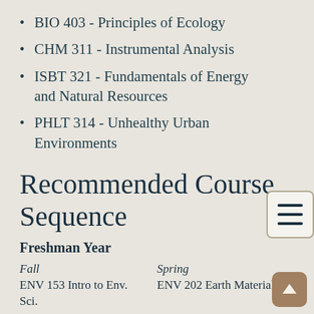BIO 403 - Principles of Ecology
CHM 311 - Instrumental Analysis
ISBT 321 - Fundamentals of Energy and Natural Resources
PHLT 314 - Unhealthy Urban Environments
Recommended Course Sequence
Freshman Year
| Fall | Spring |
| --- | --- |
| ENV 153 Intro to Env. Sci. | ENV 202 Earth Materials |